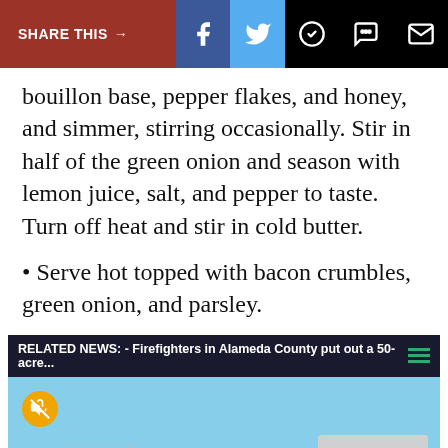SHARE THIS →  f  🐦  ⊙  💬  ✉
bouillon base, pepper flakes, and honey, and simmer, stirring occasionally. Stir in half of the green onion and season with lemon juice, salt, and pepper to taste. Turn off heat and stir in cold butter.
• Serve hot topped with bacon crumbles, green onion, and parsley.
[Figure (screenshot): Related news banner: 'RELATED NEWS: - Firefighters in Alameda County put out a 50-acre...' with green menu icon, followed by a video thumbnail showing houses on a hillside with blue sky, mute button, loading spinner, and video controls. Below is an advertisement for Jeezy x Plies Concert at Rocky Mount Event Center on 9/9/22 at 7:30PM with a 'CLICK FOR DETAILS' CTA button.]